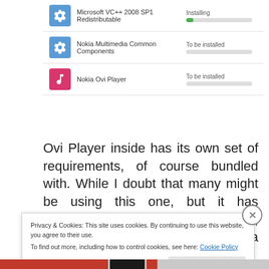[Figure (screenshot): Software installation dialog showing three items: Microsoft VC++ 2008 SP1 Redistributable (Installing, with partial green progress bar), Nokia Multimedia Common Components (To be installed, empty progress bar), Nokia Ovi Player (To be installed, empty progress bar)]
Ovi Player inside has its own set of requirements, of course bundled with. While I doubt that many might be using this one, but it has excellent options like iTunes import, common music format support and a cool UI.
Privacy & Cookies: This site uses cookies. By continuing to use this website, you agree to their use.
To find out more, including how to control cookies, see here: Cookie Policy
[Figure (screenshot): Bottom navigation bar with red and dark colored segments]